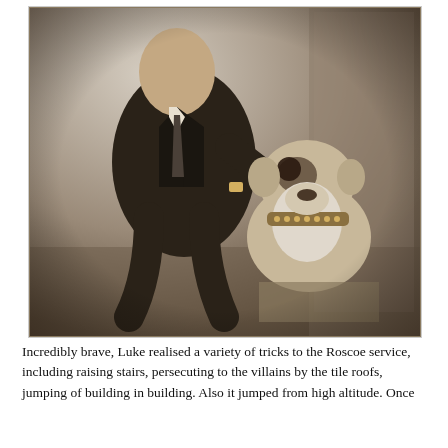[Figure (photo): Sepia-toned vintage photograph of a man in a dark suit sitting with a bulldog wearing a studded collar. The photo has a handwritten inscription that reads: 'To Winnie, Best wishes, Because man is legend my Pal, Roscoe, January 14, 1920 B.P., Hollywood, Calif.']
Incredibly brave, Luke realised a variety of tricks to the Roscoe service, including raising stairs, persecuting to the villains by the tile roofs, jumping of building in building. Also it jumped from high altitude. Once